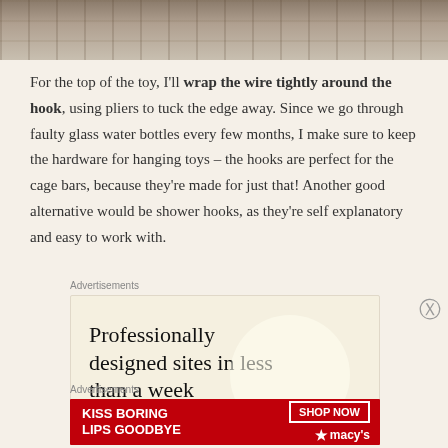[Figure (photo): Top portion of a photo showing cardboard boxes and hanging items in warm, muted tones — cropped at top of page]
For the top of the toy, I'll wrap the wire tightly around the hook, using pliers to tuck the edge away. Since we go through faulty glass water bottles every few months, I make sure to keep the hardware for hanging toys – the hooks are perfect for the cage bars, because they're made for just that! Another good alternative would be shower hooks, as they're self explanatory and easy to work with.
[Figure (other): Advertisement: 'Professionally designed sites in less than a week' on a cream background with decorative circle]
[Figure (other): Advertisement: Macy's ad 'Kiss Boring Lips Goodbye' with Shop Now button, red background, woman's face with red lipstick]